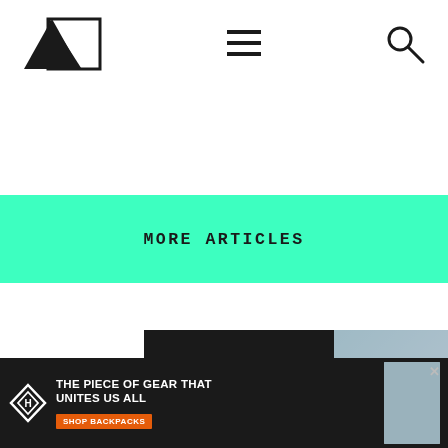Navigation header with logo, hamburger menu, and search icon
MORE ARTICLES
[Figure (advertisement): Hyperlite Mountain Gear advertisement showing a hiker with a backpack in an outdoor landscape. Text overlay: THE PIECE OF GEAR THAT UNITES US ALL. Includes Hyperlite Mountain Gear logo.]
[Figure (advertisement): Hyperlite Mountain Gear bottom banner ad. Text: THE PIECE OF GEAR THAT UNITES US ALL. SHOP BACKPACKS button. Close X button. Small logo and hiker image on right.]